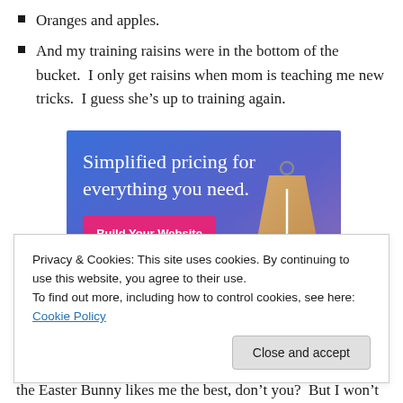Oranges and apples.
And my training raisins were in the bottom of the bucket.  I only get raisins when mom is teaching me new tricks.  I guess she’s up to training again.
[Figure (illustration): Advertisement banner with gradient blue-purple background, white serif text reading 'Simplified pricing for everything you need.' and a pink button labeled 'Build Your Website', with a tan price tag graphic on the right.]
Privacy & Cookies: This site uses cookies. By continuing to use this website, you agree to their use.
To find out more, including how to control cookies, see here: Cookie Policy
the Easter Bunny likes me the best, don’t you?  But I won’t